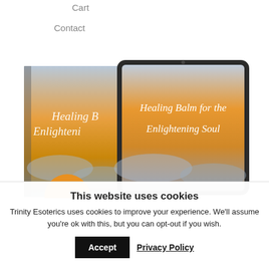Cart
Contact
[Figure (photo): Two versions of a book titled 'Healing Balm for the Enlightening Soul' — a physical book on the left and a tablet/e-reader displaying the same book cover on the right. The cover shows a dramatic sky with clouds and warm light. An orange circular element is partially visible at the bottom left.]
This website uses cookies
Trinity Esoterics uses cookies to improve your experience. We'll assume you're ok with this, but you can opt-out if you wish.
Accept   Privacy Policy